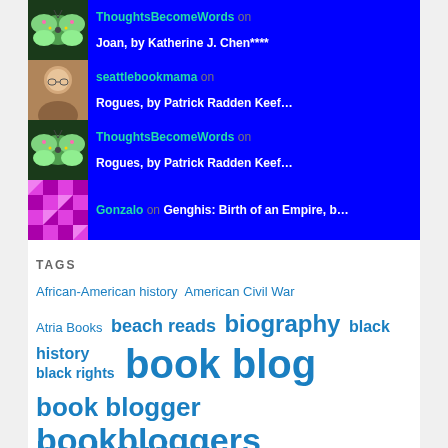ThoughtsBecomeWords on Joan, by Katherine J. Chen****
seattlebookmama on Rogues, by Patrick Radden Keef…
ThoughtsBecomeWords on Rogues, by Patrick Radden Keef…
Gonzalo on Genghis: Birth of an Empire, b…
TAGS
African-American history  American Civil War  Atria Books  beach reads  biography  black history  black rights  book blog  book blogger  bookbloggers  book review